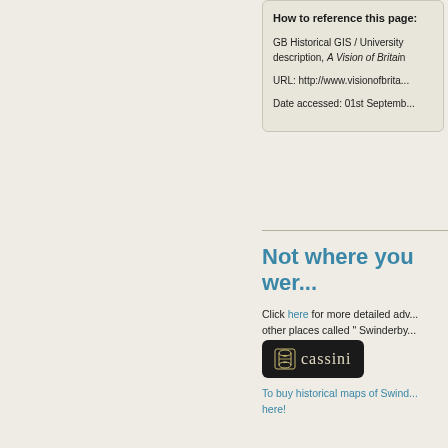How to reference this page:
GB Historical GIS / University ... description, A Vision of Britain...
URL: http://www.visionofbrita...
Date accessed: 01st Septemb...
Not where you wer...
Click here for more detailed adv... other places called " Swinderby...
[Figure (logo): Cassini historical maps logo — hourglass icon with text 'cassini' on dark rounded rectangle]
To buy historical maps of Swind... here!